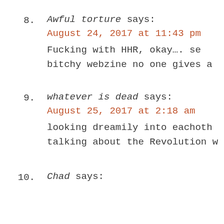8. Awful torture says: August 24, 2017 at 11:43 pm — Fucking with HHR, okay.... se bitchy webzine no one gives a
9. whatever is dead says: August 25, 2017 at 2:18 am — looking dreamily into eachoth talking about the Revolution w
10. Chad says: